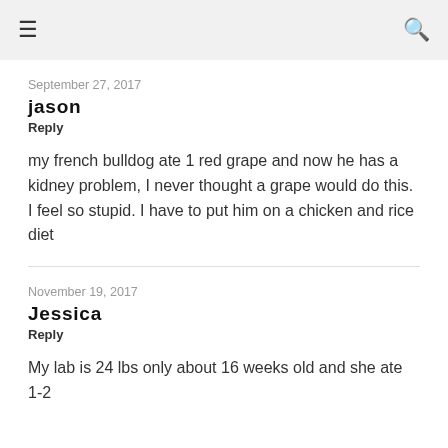☰  🔍
September 27, 2017
jason
Reply
my french bulldog ate 1 red grape and now he has a kidney problem, I never thought a grape would do this. I feel so stupid. I have to put him on a chicken and rice diet
November 19, 2017
Jessica
Reply
My lab is 24 lbs only about 16 weeks old and she ate 1-2